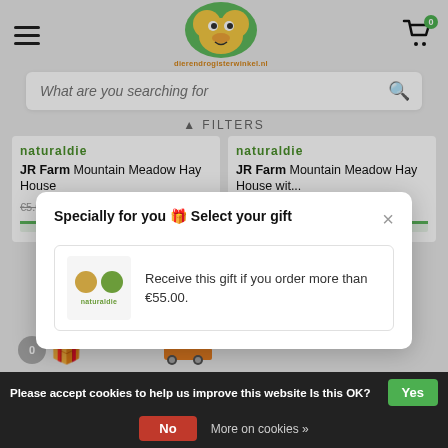[Figure (screenshot): E-commerce website header with hamburger menu, logo (dierendrogisterwinkel.nl), and shopping cart icon with badge showing 0]
[Figure (screenshot): Search bar with placeholder text 'What are you searching for' and search icon]
FILTERS
[Figure (screenshot): Two product cards showing JR Farm Mountain Meadow Hay House products with green script decorations and prices €4.99 (was €5.00)]
JR Farm Mountain Meadow Hay House
JR Farm Mountain Meadow Hay House wit...
€4.99
€4.99
[Figure (screenshot): Modal popup: Specially for you 🎁 Select your gift — with a gift item showing food balls, naturadie brand, text: Receive this gift if you order more than €55.00.]
Specially for you 🎁 Select your gift
Receive this gift if you order more than €55.00.
Please accept cookies to help us improve this website Is this OK?
Yes
No
More on cookies »